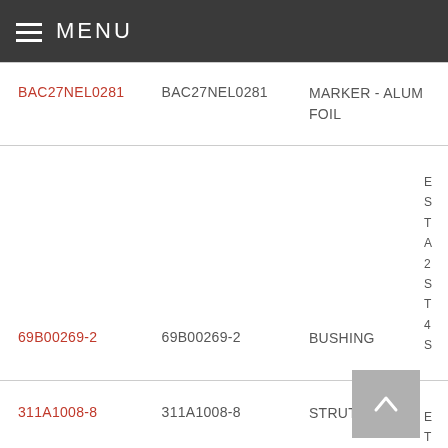MENU
| Part Link | Part ID | Description | Details |
| --- | --- | --- | --- |
| BAC27NEL0281 | BAC27NEL0281 | MARKER - ALUM FOIL |  |
| 69B00269-2 | 69B00269-2 | BUSHING |  |
| 311A1008-8 | 311A1008-8 | STRUT FAIRING |  |